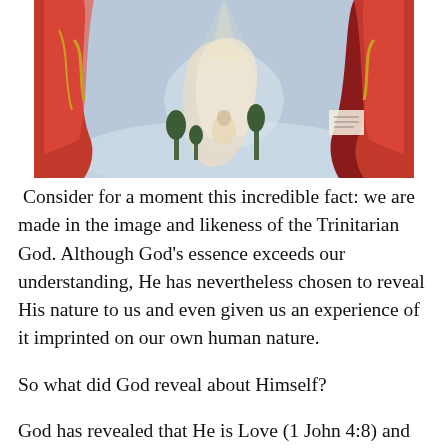[Figure (illustration): A classical religious painting depicting robed figures with red drapery in a heavenly or divine scene, likely depicting the Holy Trinity or saints in a Renaissance style.]
Consider for a moment this incredible fact: we are made in the image and likeness of the Trinitarian God. Although God's essence exceeds our understanding, He has nevertheless chosen to reveal His nature to us and even given us an experience of it imprinted on our own human nature.
So what did God reveal about Himself?
God has revealed that He is Love (1 John 4:8) and that He is Father, Son, and Holy Spirit (Matthew 28:19). From the Father, we observe that God is creative. From